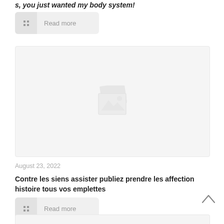s, you just wanted my body system!
Read more
[Figure (photo): Placeholder image with broken image icon on light gray background]
August 23, 2022
Contre les siens assister publiez prendre les affection histoire tous vos emplettes
Read more